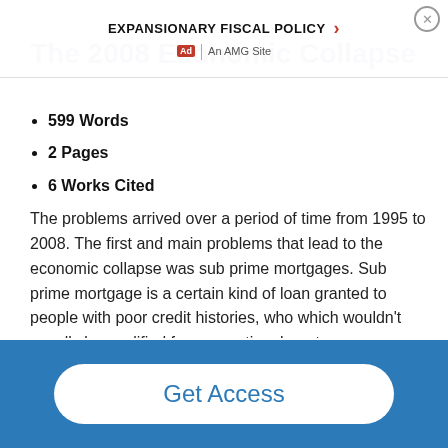EXPANSIONARY FISCAL POLICY | Ad | An AMG Site
The 2008 Economic Collapse
599 Words
2 Pages
6 Works Cited
The problems arrived over a period of time from 1995 to 2008. The first and main problems that lead to the economic collapse was sub prime mortgages. Sub prime mortgage is a certain kind of loan granted to people with poor credit histories, who which wouldn't usually be qualified for conventional mortgages (Investopedia). These sup prime mortgages would backfire on banks across the nation resulting in huge
Get Access